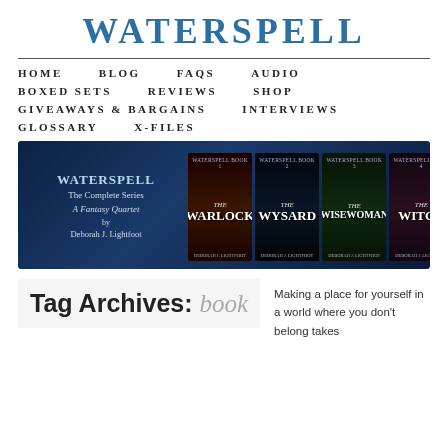WATERSPELL
HOME   BLOG   FAQS   AUDIO   BOXED SETS   REVIEWS   SHOP   GIVEAWAYS & BARGAINS   INTERVIEWS   GLOSSARY   X-FILES
[Figure (illustration): Banner image for Waterspell book series showing four book covers: The Warlock, The Wysard, The Wisewoman, The Witch. Left side shows series title 'WATERSPELL The Complete Series A Fantasy Quartet by Deborah J. Lightfoot' on a dark blue oceanic background.]
Tag Archives: book
Making a place for yourself in a world where you don't belong takes